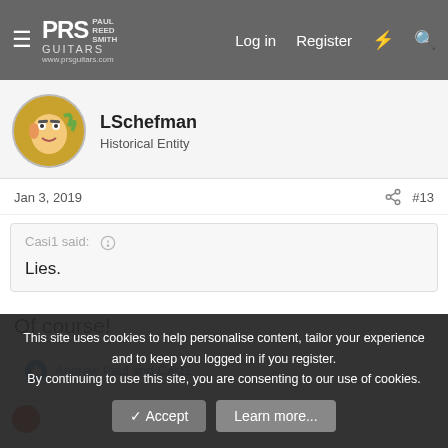PRS Paul Reed Smith Guitars www.prsguitars.com | Log in | Register
LSchefman
Historical Entity
Jan 3, 2019  #13
Casi1 said:
Lies.
Of course!
Andrew Paul and Casi1
This site uses cookies to help personalise content, tailor your experience and to keep you logged in if you register.
By continuing to use this site, you are consenting to our use of cookies.
Accept  Learn more...